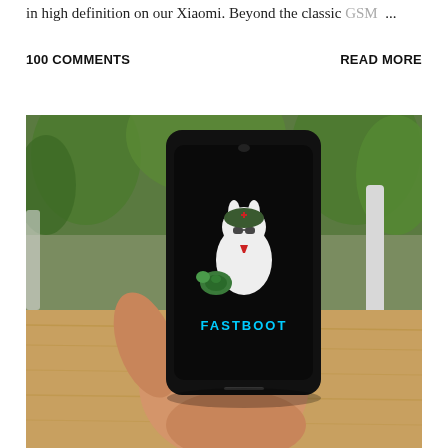in high definition on our Xiaomi. Beyond the classic GSM ...
100 COMMENTS    READ MORE
[Figure (photo): A hand holding a black Xiaomi smartphone displaying the Fastboot screen with the Mi Bunny mascot logo and the text FASTBOOT, against a background of green plants and a wooden surface.]